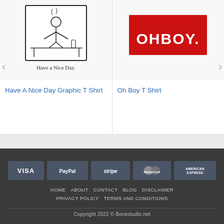[Figure (illustration): Black and white sketch illustration of a person at a desk/workspace with 'Have a Nice Day.' text below]
Have A Nice Day Graphic T Shirt
[Figure (logo): Red rectangle with white bold text 'OHBOY.' — product image for Oh Boy T Shirt]
Oh Boy T Shirt
[Figure (infographic): Payment method icons: VISA, PayPal, stripe, MasterCard, American Express]
HOME  ABOUT  CONTACT  BLOG  DISCLAIMER  PRIVACY POLICY  TERMS AND CONDITIONS
Copyright 2022 © Bonestudio.net